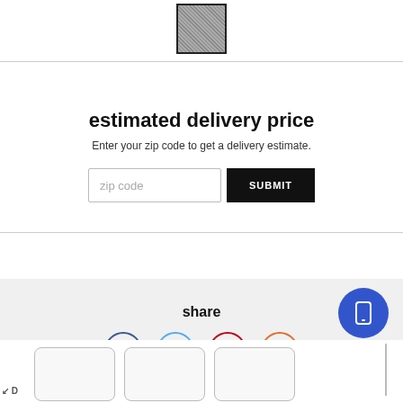[Figure (photo): Small fabric texture thumbnail image with dark border at top center]
estimated delivery price
Enter your zip code to get a delivery estimate.
[Figure (screenshot): Zip code input field with placeholder 'zip code' and black SUBMIT button]
share
[Figure (infographic): Social share icons: Facebook (blue circle), Twitter (light blue circle), Pinterest (red circle), Email (red/orange circle)]
[Figure (screenshot): Blue circular mobile button with phone/tablet icon at bottom right]
[Figure (screenshot): Product thumbnail cards at bottom of page]